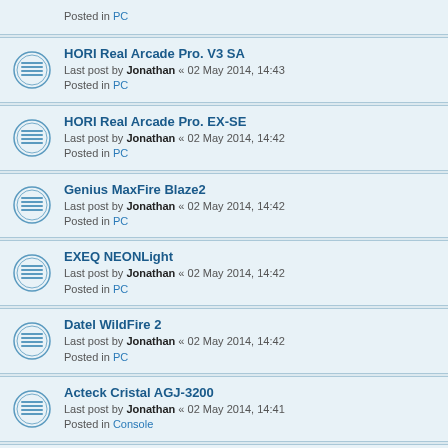Posted in PC
HORI Real Arcade Pro. V3 SA
Last post by Jonathan « 02 May 2014, 14:43
Posted in PC
HORI Real Arcade Pro. EX-SE
Last post by Jonathan « 02 May 2014, 14:42
Posted in PC
Genius MaxFire Blaze2
Last post by Jonathan « 02 May 2014, 14:42
Posted in PC
EXEQ NEONLight
Last post by Jonathan « 02 May 2014, 14:42
Posted in PC
Datel WildFire 2
Last post by Jonathan « 02 May 2014, 14:42
Posted in PC
Acteck Cristal AGJ-3200
Last post by Jonathan « 02 May 2014, 14:41
Posted in Console
Sega Genesis 6-Button Controller
Last post by Jonathan « 02 May 2014, 14:41
Posted in Console
Nintendo...
Last post by...
Posted in C...
Xpadder.com uses cookies for function and statistics. There are no adverts Ok